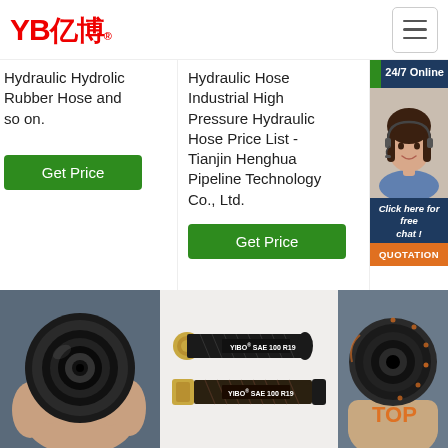[Figure (logo): YB 亿博 company logo in red with registered trademark symbol]
Hydraulic Hydrolic Rubber Hose and so on.
Get Price
Hydraulic Hose Industrial High Pressure Hydraulic Hose Price List - Tianjin Henghua Pipeline Technology Co., Ltd.
Get Price
[Figure (infographic): Customer service chat widget: 24/7 Online label, agent photo, Click here for free chat!, QUOTATION button]
[Figure (photo): Hand holding a black rubber hydraulic hose cross-section]
[Figure (photo): Two YIBO SAE 100 R19 hydraulic hoses shown side by side]
[Figure (photo): Hand holding a black hydraulic hose with orange TOP badge overlay]